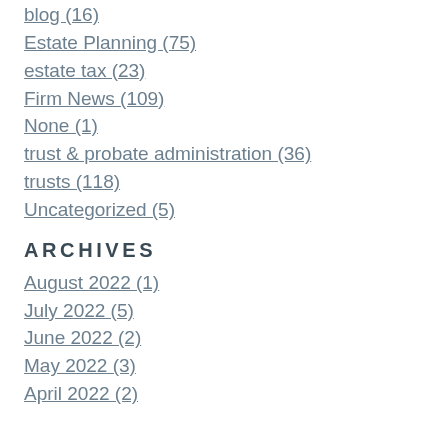blog (16)
Estate Planning (75)
estate tax (23)
Firm News (109)
None (1)
trust & probate administration (36)
trusts (118)
Uncategorized (5)
ARCHIVES
August 2022 (1)
July 2022 (5)
June 2022 (2)
May 2022 (3)
April 2022 (2)